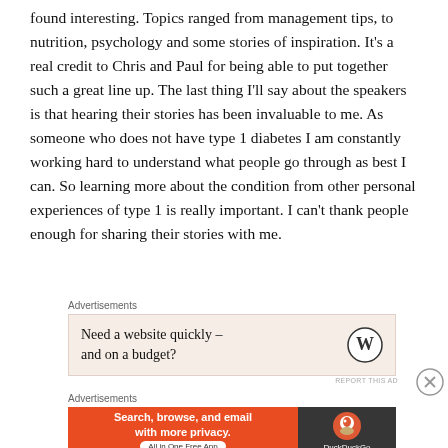found interesting. Topics ranged from management tips, to nutrition, psychology and some stories of inspiration. It's a real credit to Chris and Paul for being able to put together such a great line up. The last thing I'll say about the speakers is that hearing their stories has been invaluable to me. As someone who does not have type 1 diabetes I am constantly working hard to understand what people go through as best I can. So learning more about the condition from other personal experiences of type 1 is really important. I can't thank people enough for sharing their stories with me.
Advertisements
[Figure (other): Advertisement box with light beige background: 'Need a website quickly – and on a budget?' with WordPress logo on the right]
Advertisements
[Figure (other): DuckDuckGo advertisement: orange section with 'Search, browse, and email with more privacy. All in One Free App' and dark section with DuckDuckGo logo]